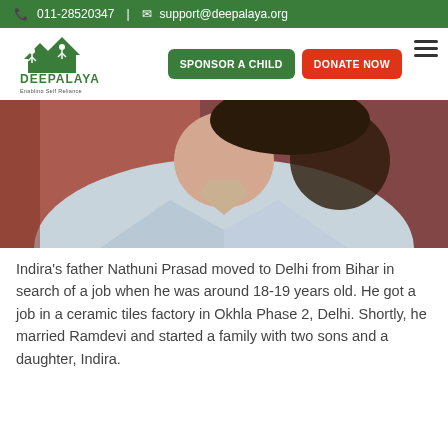011-28520347  |  support@deepalaya.org
[Figure (logo): Deepalaya logo with green houses and two figures, text 'DEEPALAYA' and tagline 'Enabling Self Reliance']
[Figure (photo): Close-up photo of a person in a light blue jacket, face cropped out, reddish-brown blurred background]
Indira's father Nathuni Prasad moved to Delhi from Bihar in search of a job when he was around 18-19 years old. He got a job in a ceramic tiles factory in Okhla Phase 2, Delhi. Shortly, he married Ramdevi and started a family with two sons and a daughter, Indira.